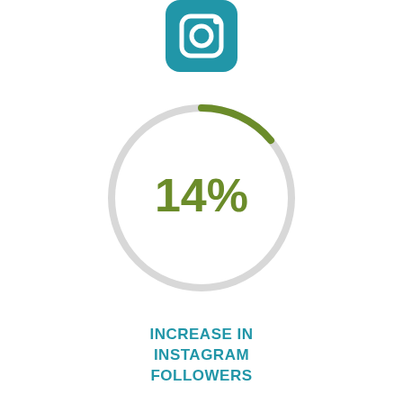[Figure (logo): Instagram camera icon with blue rounded square background and white camera symbol]
[Figure (donut-chart): Donut/gauge chart showing 14% with a small green arc segment at the top and a light gray arc for the remainder]
INCREASE IN INSTAGRAM FOLLOWERS